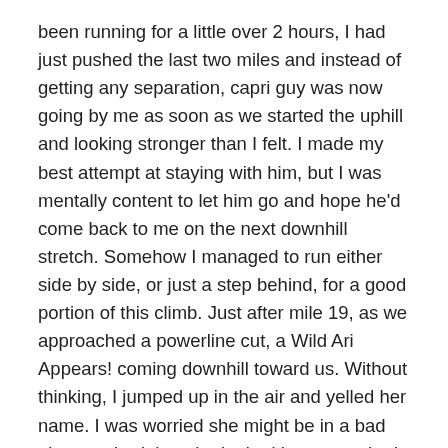been running for a little over 2 hours, I had just pushed the last two miles and instead of getting any separation, capri guy was now going by me as soon as we started the uphill and looking stronger than I felt. I made my best attempt at staying with him, but I was mentally content to let him go and hope he'd come back to me on the next downhill stretch. Somehow I managed to run either side by side, or just a step behind, for a good portion of this climb. Just after mile 19, as we approached a powerline cut, a Wild Ari Appears! coming downhill toward us. Without thinking, I jumped up in the air and yelled her name. I was worried she might be in a bad place or tired, but she looked just as excited as I was to see her. I ran to the other side of the trail, gave her a big hug and kiss and told her to go for the Olympics as we ran our separate ways.
As corny as it may sound, that was seriously one of the